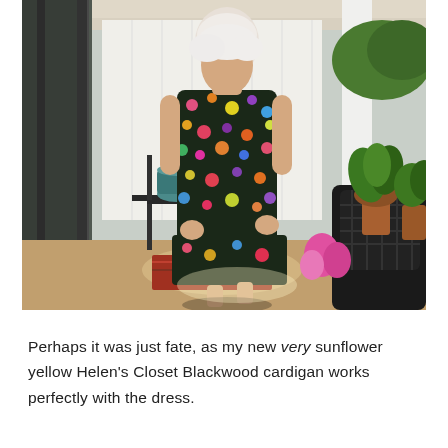[Figure (photo): An elderly woman with short white hair stands on a sunlit patio or screened porch, wearing a sleeveless dark floral dress with colorful flowers in pink, orange, yellow, and blue on a dark background. She is looking down with her hands at her sides. Behind her are potted plants including an orchid on a black metal side table, a teal pot, a yellow pot on the floor, pink flowers near a wicker chair, and green tropical plants in terra cotta pots. There is a white vinyl fence visible through the screen in the background.]
Perhaps it was just fate, as my new very sunflower yellow Helen's Closet Blackwood cardigan works perfectly with the dress.